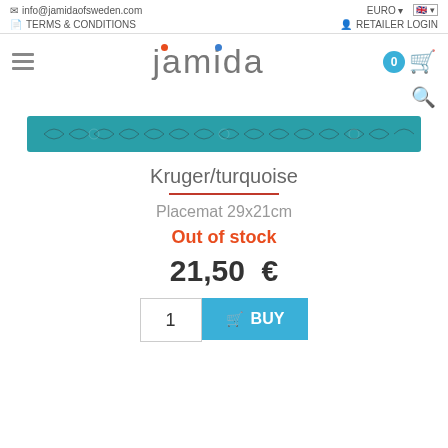info@jamidaofsweden.com  EURO  TERMS & CONDITIONS  RETAILER LOGIN
[Figure (logo): Jamida brand logo with red and blue dots above letters j and i, in grey sans-serif font]
[Figure (photo): Partial product image of Kruger/turquoise placemat showing a teal/turquoise strip with decorative pattern]
Kruger/turquoise
Placemat 29x21cm
Out of stock
21,50 €
1  BUY